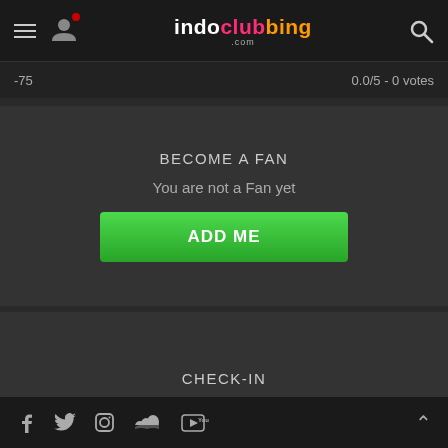indoclubbing.com
-75    0.0/5 - 0 votes
BECOME A FAN
You are not a Fan yet
ADD ME
CHECK-IN
Are you there?
CHECK-IN
Social media icons footer